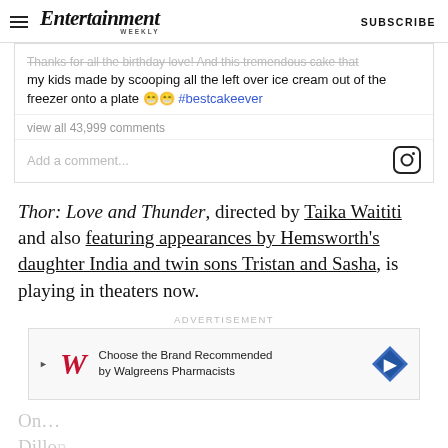Entertainment Weekly — SUBSCRIBE
Thanks for all the birthday love! And this tremendous cake that my kids made by scooping all the left over ice cream out of the freezer onto a plate 😁😁 #bestcakeever
view all 43,999 comments
Add a comment...
Thor: Love and Thunder, directed by Taika Waititi and also featuring appearances by Hemsworth's daughter India and twin sons Tristan and Sasha, is playing in theaters now.
ADVERTISEMENT
[Figure (screenshot): Walgreens advertisement banner: 'Choose the Brand Recommended by Walgreens Pharmacists' with Walgreens W logo and blue diamond icon]
Dillon...